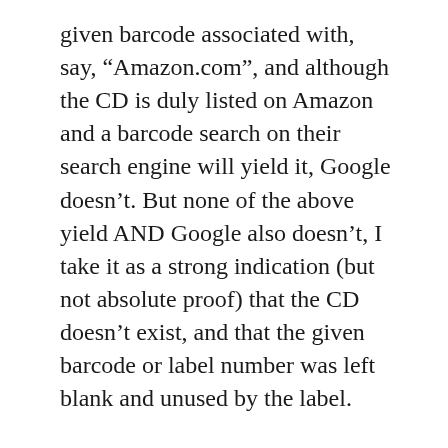given barcode associated with, say, “Amazon.com”, and although the CD is duly listed on Amazon and a barcode search on their search engine will yield it, Google doesn’t. But none of the above yield AND Google also doesn’t, I take it as a strong indication (but not absolute proof) that the CD doesn’t exist, and that the given barcode or label number was left blank and unused by the label.
My Google searches will occasionally lead me to MusicBrainz.org (barcode AND label number usually provided, as well as full track listing, but no backcover photo), Allmusic (no backcover photos, sketchy product information), Pickclick (sometimes links to eBay sales and photos),